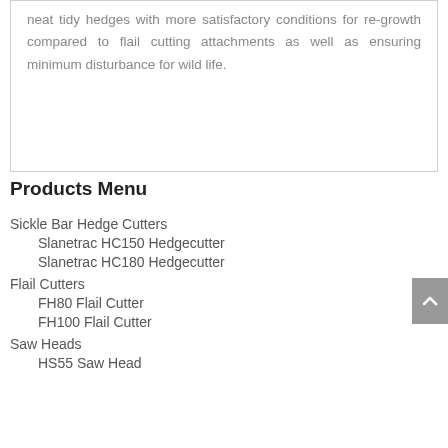neat tidy hedges with more satisfactory conditions for re-growth compared to flail cutting attachments as well as ensuring minimum disturbance for wild life.
Products Menu
Sickle Bar Hedge Cutters
Slanetrac HC150 Hedgecutter
Slanetrac HC180 Hedgecutter
Flail Cutters
FH80 Flail Cutter
FH100 Flail Cutter
Saw Heads
HS55 Saw Head